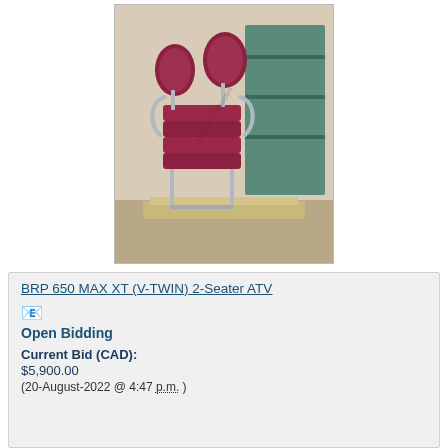[Figure (photo): Stacked red upholstered banquet chairs with chrome frames on a wooden pallet in a warehouse setting]
BRP 650 MAX XT (V-TWIN) 2-Seater ATV
Open Bidding
Current Bid (CAD):
$5,900.00
(20-August-2022 @ 4:47 p.m. )